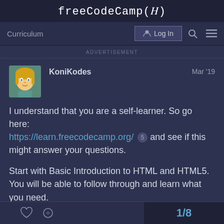freeCodeCamp(🔥)
Curriculum
Log In
ADVERTISEMENT
KoniKodes   Mar '19
I understand that you are a self-learner. So go here: https://learn.freecodecamp.org/ 5 and see if this might answer your questions.

Start with Basic Introduction to HTML and HTML5. You will be able to follow through and learn what you need.
1/8